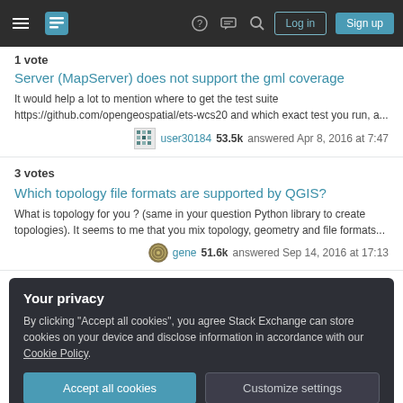Stack Exchange navigation bar with hamburger menu, logo, help, chat, search icons, Log in and Sign up buttons
1 vote
Server (MapServer) does not support the gml coverage
It would help a lot to mention where to get the test suite https://github.com/opengeospatial/ets-wcs20 and which exact test you run, a...
user30184 53.5k answered Apr 8, 2016 at 7:47
3 votes
Which topology file formats are supported by QGIS?
What is topology for you ? (same in your question Python library to create topologies). It seems to me that you mix topology, geometry and file formats...
gene 51.6k answered Sep 14, 2016 at 17:13
Your privacy
By clicking "Accept all cookies", you agree Stack Exchange can store cookies on your device and disclose information in accordance with our Cookie Policy.
Accept all cookies  Customize settings
3 votes